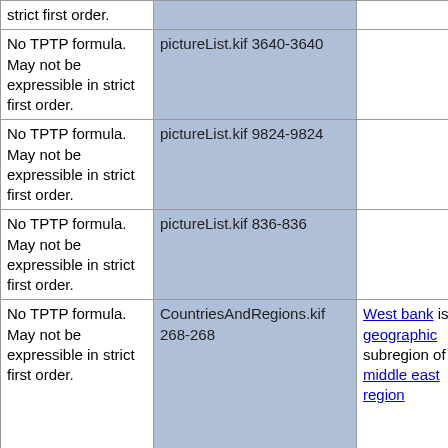| strict first order. | pictureList.kif 3640-3640 |  |
| No TPTP formula. May not be expressible in strict first order. | pictureList.kif 9824-9824 |  |
| No TPTP formula. May not be expressible in strict first order. | pictureList.kif 836-836 |  |
| No TPTP formula. May not be expressible in strict first order. | CountriesAndRegions.kif 268-268 | West bank is a geographic subregion of middle east region |